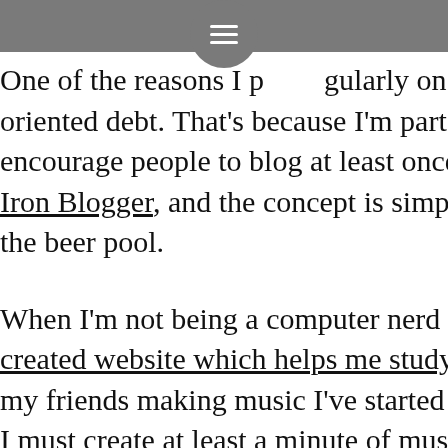navigation bar with hamburger menu
One of the reasons I post regularly on this blog is oriented debt. That's because I'm part of Iron Blogger encourage people to blog at least once a week. Not Iron Blogger, and the concept is simple: post a or the beer pool.
When I'm not being a computer nerd I'm often studying (created website which helps me study), and in an my friends making music I've started Iron Musician I must create at least a minute of music once a week pool.